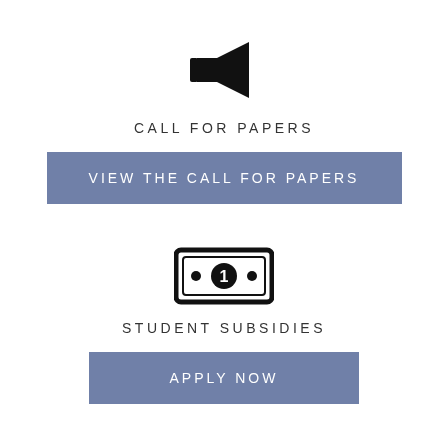[Figure (illustration): Megaphone / bullhorn icon in black]
CALL FOR PAPERS
VIEW THE CALL FOR PAPERS
[Figure (illustration): Money / dollar bill icon with a circle containing the number 1]
STUDENT SUBSIDIES
APPLY NOW